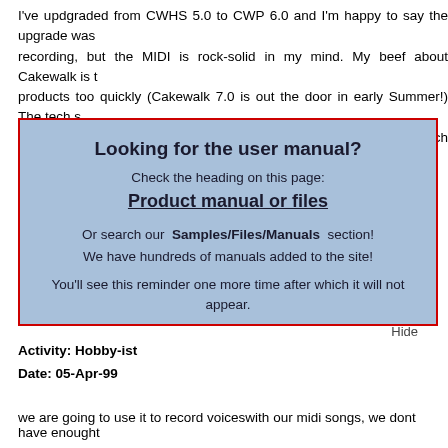I've updgraded from CWHS 5.0 to CWP 6.0 and I'm happy to say the upgrade was recording, but the MIDI is rock-solid in my mind. My beef about Cakewalk is t products too quickly (Cakewalk 7.0 is out the door in early Summer!) The tech s there are several active newsgroups that support the products (search on "cak want demos, you can get them here:
[Figure (other): Modal popup box with light blue background and red border. Contains heading 'Looking for the user manual?', subtext 'Check the heading on this page:', bold underlined link 'Product manual or files', body text 'Or search our Samples/Files/Manuals section! We have hundreds of manuals added to the site!', reminder text, and Hide link.]
Activity: Hobby-ist
Date: 05-Apr-99
we are going to use it to record voiceswith our midi songs, we dont have enought